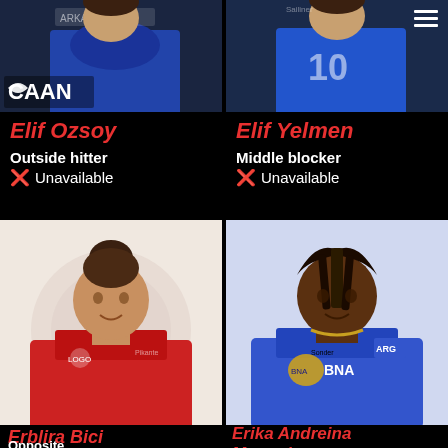[Figure (photo): Volleyball player Elif Ozsoy in blue Arkas jersey, with CAAN logo overlay]
Elif Ozsoy
Outside hitter
❌ Unavailable
[Figure (photo): Volleyball player Elif Yelmen in blue jersey, number 10, with hamburger menu icon]
Elif Yelmen
Middle blocker
❌ Unavailable
[Figure (photo): Volleyball player Erblira Bici in red jersey smiling, with volleyball club logo watermark]
Erblira Bici
Opposite
[Figure (photo): Volleyball player Erika Andreina Mercado in Argentina blue BNA jersey with ARG badge]
Erika Andreina Mercado